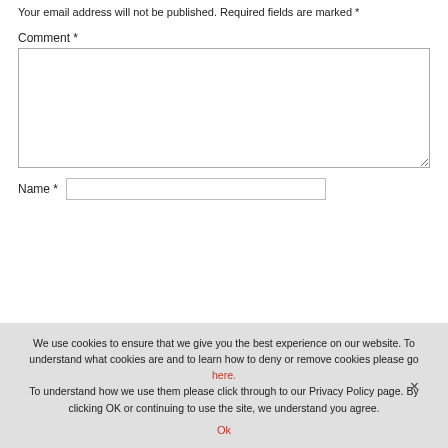Your email address will not be published. Required fields are marked *
Comment *
Name *
We use cookies to ensure that we give you the best experience on our website. To understand what cookies are and to learn how to deny or remove cookies please go here. To understand how we use them please click through to our Privacy Policy page. By clicking OK or continuing to use the site, we understand you agree.
Ok